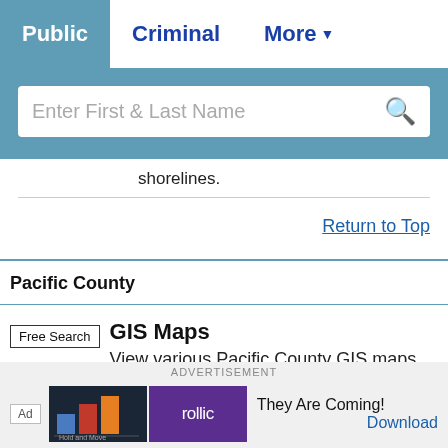Public | Criminal | More
[Figure (screenshot): Search bar with placeholder text 'Enter First & Last Name' and a search icon]
shorelines.
Return to Top
Pacific County
Free Search
GIS Maps
View various Pacific County GIS maps including
[Figure (screenshot): Advertisement banner: Rollic game ad with 'They Are Coming!' and Download button]